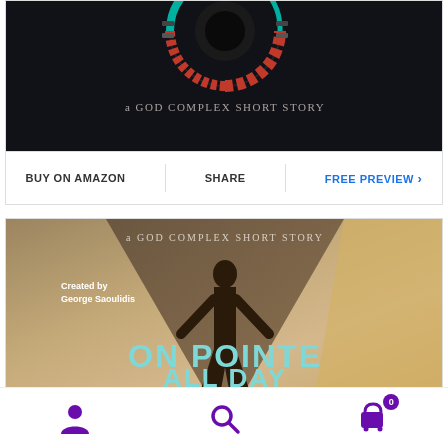[Figure (illustration): Book cover for a God Complex short story — sci-fi themed with circular mechanical design, dark background with red and teal elements, text 'a GOD COMPLEX SHORT STORY']
BUY ON AMAZON | SHARE | FREE PREVIEW >
[Figure (illustration): Book cover 'ON POINTE ALL DAY' — a God Complex Short Story, Created by George Saoulidis. Dark silhouette of a woman against a brown/tan geometric background with teal title text.]
[Figure (illustration): Bottom navigation bar with user icon, search icon, and shopping cart icon with badge showing 0]